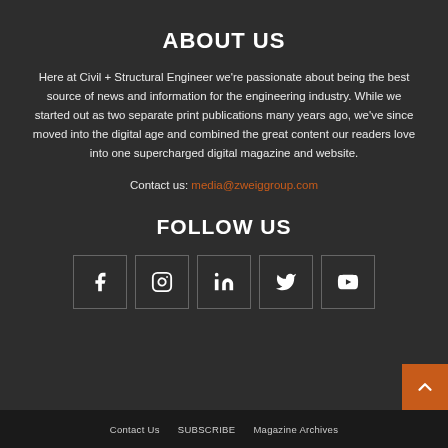ABOUT US
Here at Civil + Structural Engineer we're passionate about being the best source of news and information for the engineering industry. While we started out as two separate print publications many years ago, we've since moved into the digital age and combined the great content our readers love into one supercharged digital magazine and website.
Contact us: media@zweiggroup.com
FOLLOW US
[Figure (infographic): Five social media icon buttons in bordered squares: Facebook (f), Instagram (camera), LinkedIn (in), Twitter (bird), YouTube (play button)]
Contact Us   SUBSCRIBE   Magazine Archives